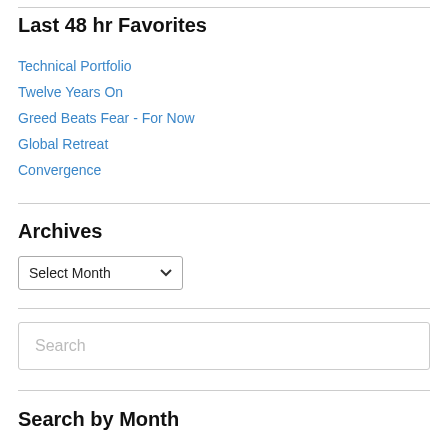Last 48 hr Favorites
Technical Portfolio
Twelve Years On
Greed Beats Fear - For Now
Global Retreat
Convergence
Archives
Select Month (dropdown)
Search (search box)
Search by Month